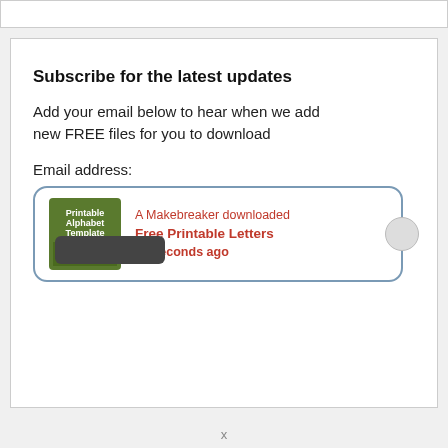Subscribe for the latest updates
Add your email below to hear when we add new FREE files for you to download
Email address:
[Figure (infographic): Notification card showing 'A Makebreaker downloaded Free Printable Letters 21 seconds ago' with a Printable Alphabet Template ABC thumbnail image]
x